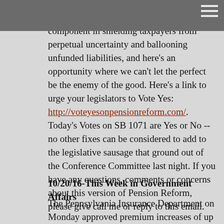contribution retirement plans is a critical component in shielding taxpayers from perpetual uncertainty and ballooning unfunded liabilities, and here's an opportunity where we can't let the perfect be the enemy of the good. Here's a link to urge your legislators to Vote Yes: http://voteyesonpensionreform.com/. Today's Votes on SB 1071 are Yes or No -- no other fixes can be considered to add to the legislative sausage that ground out of the Conference Committee last night. If you have any questions, comments or concerns about this version of Pension Reform, please give call me or reply to this email.
10/20/16-This Week in Government Affairs
The Pennsylvania Insurance Department on Monday approved premium increases of up to 55 percent for health insurance plans sold on the Affordable Care Act's online marketplace in the state. Calling the